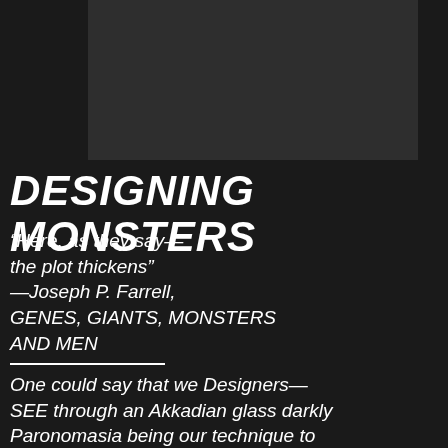[Figure (other): Dark gray/black rectangular image block, positioned upper right area of page]
DESIGNING MONSTERS
“Here, as they say—
the plot thickens”
—Joseph P. Farrell,
GENES, GIANTS, MONSTERS
AND MEN
One could say that we Designers—
SEE through an Akkadian glass darkly
Paronomasia being our technique to